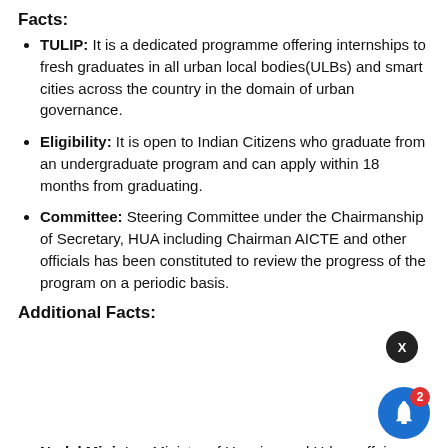Facts:
TULIP: It is a dedicated programme offering internships to fresh graduates in all urban local bodies(ULBs) and smart cities across the country in the domain of urban governance.
Eligibility: It is open to Indian Citizens who graduate from an undergraduate program and can apply within 18 months from graduating.
Committee: Steering Committee under the Chairmanship of Secretary, HUA including Chairman AICTE and other officials has been constituted to review the progress of the program on a periodic basis.
Additional Facts:
[Figure (screenshot): Notification popup with link 'Class 9 - Geography - Landforms by Flowing River' and timestamp '4 hours ago', with close button X and blue bell notification icon with badge 2]
Nodal Ministry: Ministry of Housing and Urban affairs.